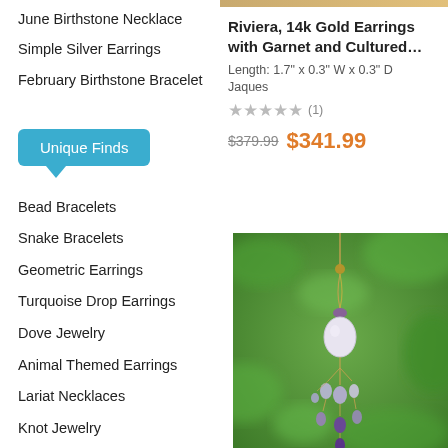June Birthstone Necklace
Simple Silver Earrings
February Birthstone Bracelet
[Figure (other): Unique Finds speech-bubble button in teal/blue color]
Bead Bracelets
Snake Bracelets
Geometric Earrings
Turquoise Drop Earrings
Dove Jewelry
Animal Themed Earrings
Lariat Necklaces
Knot Jewelry
Red Garnet Earrings
Riviera, 14k Gold Earrings with Garnet and Cultured…
Length: 1.7" x 0.3" W x 0.3" D
Jaques
★★★★★ (1)
$379.99  $341.99
[Figure (photo): Photo of a dangling necklace with pearl and purple amethyst gemstone drops on a gold chain, against a blurred green leafy background]